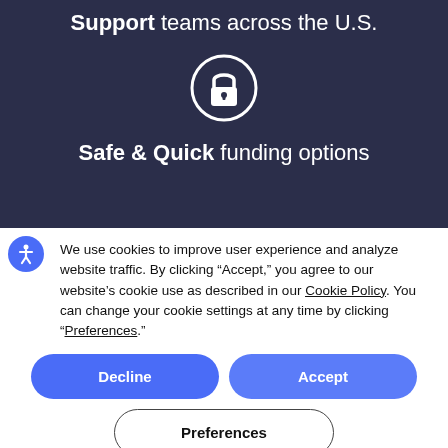Support teams across the U.S.
[Figure (illustration): White lock icon inside a white circle outline on dark navy background]
Safe & Quick funding options
We use cookies to improve user experience and analyze website traffic. By clicking “Accept,” you agree to our website’s cookie use as described in our Cookie Policy. You can change your cookie settings at any time by clicking “Preferences.”
Decline
Accept
Preferences